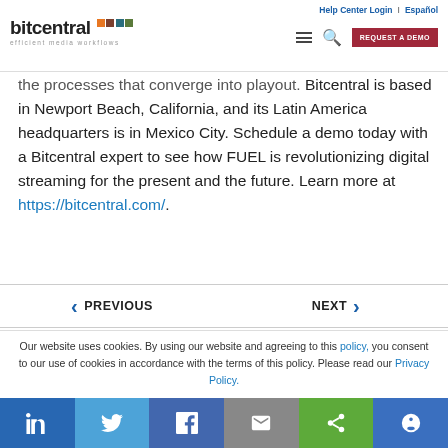bitcentral efficient media workflows | Help Center Login | Español | REQUEST A DEMO
the processes that converge into playout. Bitcentral is based in Newport Beach, California, and its Latin America headquarters is in Mexico City. Schedule a demo today with a Bitcentral expert to see how FUEL is revolutionizing digital streaming for the present and the future. Learn more at https://bitcentral.com/.
◀ PREVIOUS    NEXT ▶
Our website uses cookies. By using our website and agreeing to this policy, you consent to our use of cookies in accordance with the terms of this policy. Please read our Privacy Policy.
LinkedIn | Twitter | Facebook | Email | Share | Accessibility